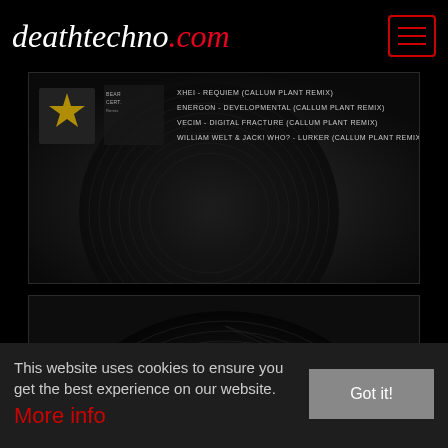deathtechno.com
[Figure (screenshot): Music release artwork thumbnail with track listing showing: XHEI - REQUIEM (CALLUM PLANT REMIX), ENERGON - DEVELOPMENTAL (CALLUM PLANT REMIX), VECIM - DIGITAL FRACTURE (CALLUM PLANT REMIX), WILLIAM WELT & JACK! WHO? - LURKER (CALLUM PLANT REMIX)]
[Figure (photo): Dark vinyl record photograph showing a black record with a skull-like design and a red center label, photographed from above]
This website uses cookies to ensure you get the best experience on our website. More info